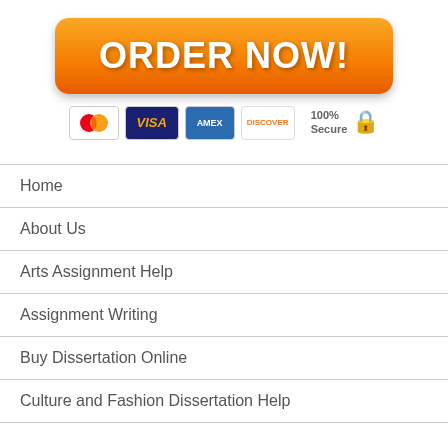[Figure (illustration): Orange gradient ORDER NOW! button with white bold text and rounded corners]
[Figure (illustration): Payment method badges: MasterCard, VISA, AMEX, Discover, and 100% Secure lock icon]
Home
About Us
Arts Assignment Help
Assignment Writing
Buy Dissertation Online
Culture and Fashion Dissertation Help